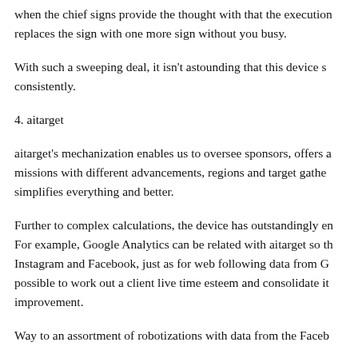when the chief signs provide the thought with that the execution replaces the sign with one more sign without you busy.
With such a sweeping deal, it isn't astounding that this device st consistently.
4. aitarget
aitarget's mechanization enables us to oversee sponsors, offers a missions with different advancements, regions and target gather simplifies everything and better.
Further to complex calculations, the device has outstandingly en For example, Google Analytics can be related with aitarget so th Instagram and Facebook, just as for web following data from G possible to work out a client live time esteem and consolidate it improvement.
Way to an assortment of robotizations with data from the Faceb